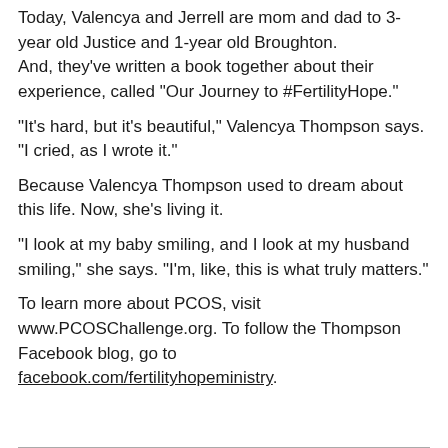Today, Valencya and Jerrell are mom and dad to 3-year old Justice and 1-year old Broughton.
And, they've written a book together about their experience, called "Our Journey to #FertilityHope."
"It's hard, but it's beautiful," Valencya Thompson says. "I cried, as I wrote it."
Because Valencya Thompson used to dream about this life. Now, she's living it.
"I look at my baby smiling, and I look at my husband smiling," she says. "I'm, like, this is what truly matters."
To learn more about PCOS, visit www.PCOSChallenge.org. To follow the Thompson Facebook blog, go to facebook.com/fertilityhopeministry.